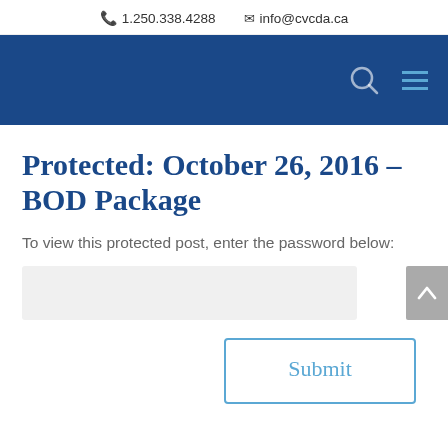1.250.338.4288   info@cvcda.ca
Protected: October 26, 2016 – BOD Package
To view this protected post, enter the password below:
[password input field]
Submit